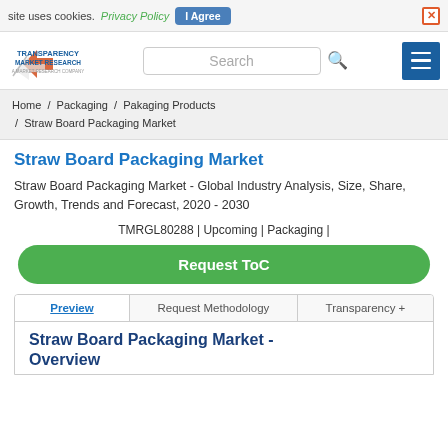site uses cookies. Privacy Policy  I Agree  ×
[Figure (logo): Transparency Market Research logo with arrow graphic]
Search
Home / Packaging / Pakaging Products / Straw Board Packaging Market
Straw Board Packaging Market
Straw Board Packaging Market - Global Industry Analysis, Size, Share, Growth, Trends and Forecast, 2020 - 2030
TMRGL80288 | Upcoming | Packaging |
Request ToC
Preview	Request Methodology	Transparency +
Straw Board Packaging Market - Overview